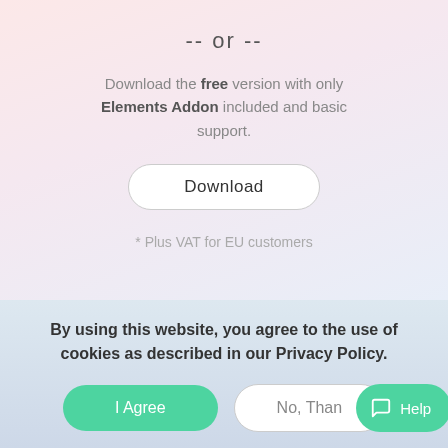-- or --
Download the free version with only Elements Addon included and basic support.
Download
* Plus VAT for EU customers
By using this website, you agree to the use of cookies as described in our Privacy Policy.
I Agree
No, Than
Help